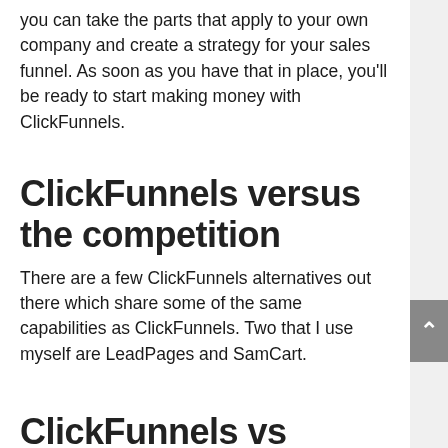you can take the parts that apply to your own company and create a strategy for your sales funnel. As soon as you have that in place, you'll be ready to start making money with ClickFunnels.
ClickFunnels versus the competition
There are a few ClickFunnels alternatives out there which share some of the same capabilities as ClickFunnels. Two that I use myself are LeadPages and SamCart.
ClickFunnels vs